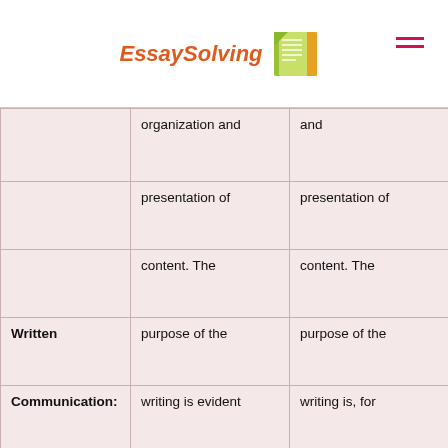EssaySolving
|  |  |  |
| --- | --- | --- |
|  | organization and presentation of content. The purpose of the writing is evident and easy to understand. Summaries, quotes, and/or paraphrases fit naturally into the sentences and | and presentation of content. The purpose of the writing is, for the most part, clear and easy to understand. There are some problems with the blend |